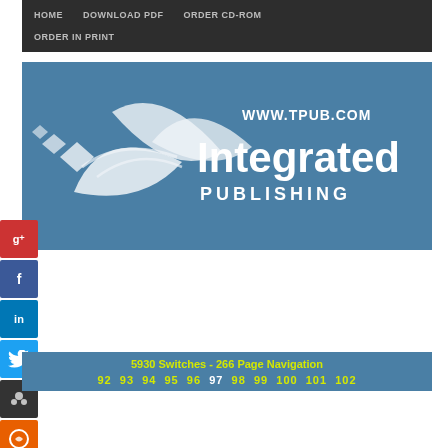HOME   DOWNLOAD PDF   ORDER CD-ROM   ORDER IN PRINT
[Figure (logo): Integrated Publishing logo with stylized bird and text 'www.tpub.com Integrated PUBLISHING' on blue background]
5930-00-866-6548 Switch, Rotary
5930-00-866-6564 Switch, Rotary
5930 Switches - 266 Page Navigation
92  93  94  95  96  97  98  99  100  101  102